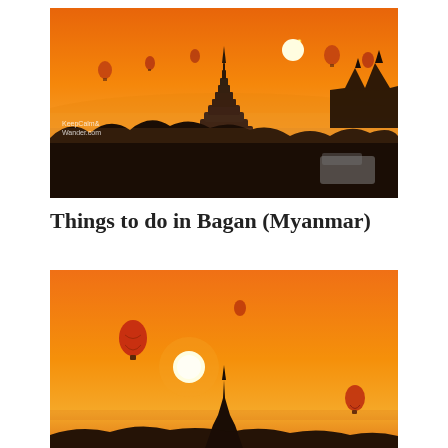[Figure (photo): Sunrise over Bagan, Myanmar. Orange-hued sky with a bright yellow sun, silhouettes of Buddhist stupas and temples including a prominent tiered pagoda in the foreground, trees, hot air balloons dotting the sky, and a van visible on the right. Watermark reads 'KeepCalmAndWander.com'.]
Things to do in Bagan (Myanmar)
[Figure (photo): Another sunrise photo over Bagan, Myanmar. Orange sky with a large bright sun, silhouettes of a stupa spire at the bottom center, and several hot air balloons including one prominent red balloon on the left and another on the lower right.]